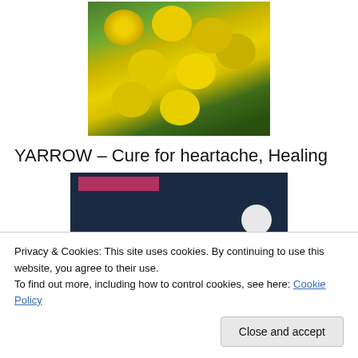[Figure (photo): Photograph of yarrow plant with yellow flowers and green foliage]
YARROW – Cure for heartache, Healing
[Figure (screenshot): Dark blue screenshot image with pink bar element and circular element]
Privacy & Cookies: This site uses cookies. By continuing to use this website, you agree to their use.
To find out more, including how to control cookies, see here: Cookie Policy
Close and accept